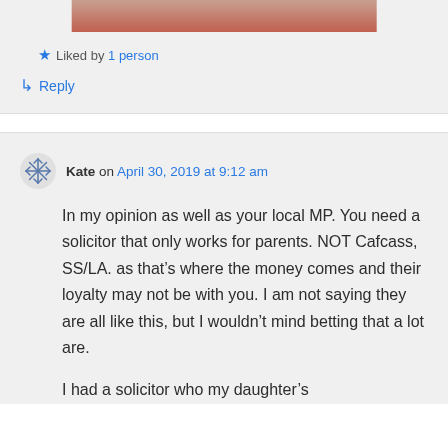[Figure (photo): Cropped bottom portion of a profile photo showing a person in a red top against a light background]
Liked by 1 person
↳ Reply
Kate on April 30, 2019 at 9:12 am
In my opinion as well as your local MP. You need a solicitor that only works for parents. NOT Cafcass, SS/LA. as that's where the money comes and their loyalty may not be with you. I am not saying they are all like this, but I wouldn't mind betting that a lot are.
I had a solicitor who my daughter's